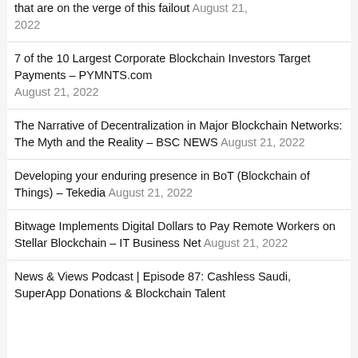that are on the verge of this failout August 21, 2022
7 of the 10 Largest Corporate Blockchain Investors Target Payments – PYMNTS.com August 21, 2022
The Narrative of Decentralization in Major Blockchain Networks: The Myth and the Reality – BSC NEWS August 21, 2022
Developing your enduring presence in BoT (Blockchain of Things) – Tekedia August 21, 2022
Bitwage Implements Digital Dollars to Pay Remote Workers on Stellar Blockchain – IT Business Net August 21, 2022
News & Views Podcast | Episode 87: Cashless Saudi, SuperApp Donations & Blockchain Talent